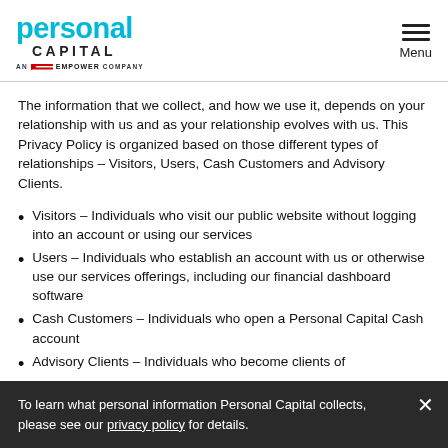[Figure (logo): Personal Capital logo — 'personal' in cyan bold, 'CAPITAL' in black uppercase, 'AN EMPOWER COMPANY' with stripe graphic below]
The information that we collect, and how we use it, depends on your relationship with us and as your relationship evolves with us. This Privacy Policy is organized based on those different types of relationships – Visitors, Users, Cash Customers and Advisory Clients.
Visitors – Individuals who visit our public website without logging into an account or using our services
Users – Individuals who establish an account with us or otherwise use our services offerings, including our financial dashboard software
Cash Customers – Individuals who open a Personal Capital Cash account
Advisory Clients – Individuals who become clients of
To learn what personal information Personal Capital collects, please see our privacy policy for details.